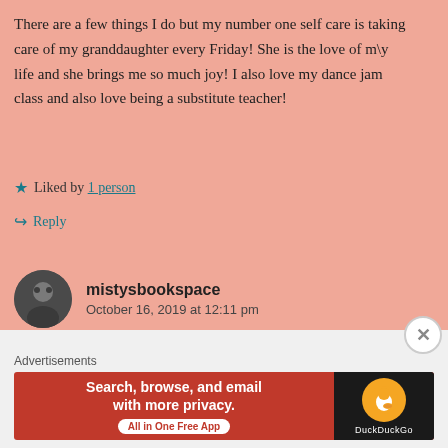There are a few things I do but my number one self care is taking care of my granddaughter every Friday! She is the love of m\y life and she brings me so much joy! I also love my dance jam class and also love being a substitute teacher!
★ Liked by 1 person
↪ Reply
mistysbookspace
October 16, 2019 at 12:11 pm
Advertisements
[Figure (screenshot): DuckDuckGo advertisement banner: orange-red background with text 'Search, browse, and email with more privacy. All in One Free App' and DuckDuckGo logo on dark right panel]